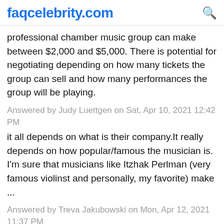faqcelebrity.com
professional chamber music group can make between $2,000 and $5,000. There is potential for negotiating depending on how many tickets the group can sell and how many performances the group will be playing.
Answered by Judy Luettgen on Sat, Apr 10, 2021 12:42 PM
it all depends on what is their company.It really depends on how popular/famous the musician is. I'm sure that musicians like Itzhak Perlman (very famous violinst and personally, my favorite) make ...
Answered by Treva Jakubowski on Mon, Apr 12, 2021 11:37 PM
How much money you make if you are a musician in